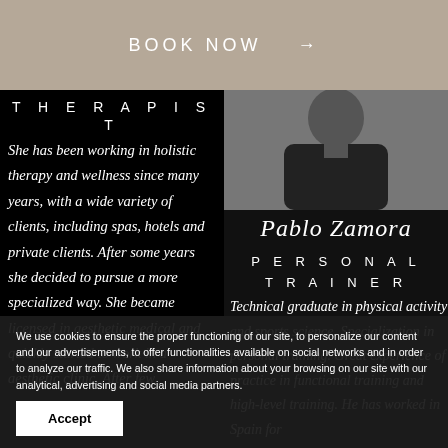BOOK NOW →
THERAPIST
She has been working in holistic therapy and wellness since many years, with a wide variety of clients, including spas, hotels and private clients. After some years she decided to pursue a more specialized way. She became licensed in aesthetic medical and quickly started to work in a aesthetic clinic. After few
[Figure (photo): Photo of Pablo Zamora, a man wearing a black shirt, cropped at shoulders]
Pablo Zamora
PERSONAL TRAINER
Technical graduate in physical activity and sports science. Specialization in personal training. Great experience of practice in functional training and high-level training. He has worked in Spain for
We use cookies to ensure the proper functioning of our site, to personalize our content and our advertisements, to offer functionalities available on social networks and in order to analyze our traffic. We also share information about your browsing on our site with our analytical, advertising and social media partners.